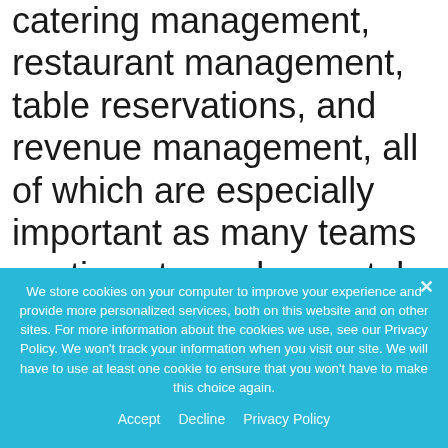catering management, restaurant management, table reservations, and revenue management, all of which are especially important as many teams continue to work remotely. Infor Hospitality Cloud Solution is a true cloud solution and works straight from a browser, giving hoteliers access to their data from almost anywhere, location
We store cookies on your computer to improve your experience and provide more personalized services, both on this website and on other sites. For more information about the cookies we use, see our Privacy Policy. We won't track your information when you visit our site. We will have to use at least one cookie to ensure that you won't have to make this choice again.
Accept   Decline   Privacy Policy